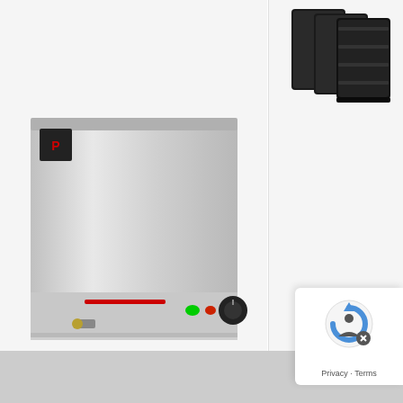[Figure (photo): Stainless steel Bain Marie appliance with control knob and indicator lights, brand logo visible in top left corner]
Bain Maries
ronorm Bain Marie 1885FB
538.13 Ex. VAT
[Figure (photo): Three black rectangular containers/trays stacked, product by Britannia Refresh]
Britannia Refresh
£1